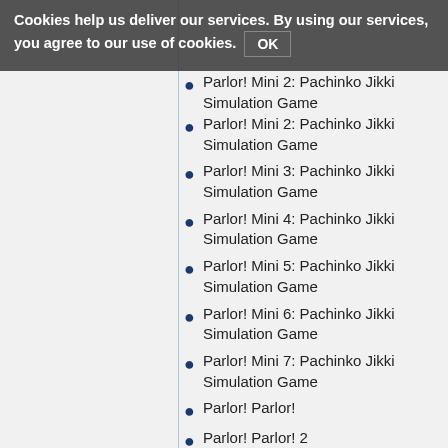Cookies help us deliver our services. By using our services, you agree to our use of cookies. OK
Parlor! Mini 2: Pachinko Jikki Simulation Game
Parlor! Mini 3: Pachinko Jikki Simulation Game
Parlor! Mini 4: Pachinko Jikki Simulation Game
Parlor! Mini 5: Pachinko Jikki Simulation Game
Parlor! Mini 6: Pachinko Jikki Simulation Game
Parlor! Mini 7: Pachinko Jikki Simulation Game
Parlor! Parlor!
Parlor! Parlor! 2
Parlor! Parlor! 3
Parlor! Parlor! IV CR
Parlor! Parlor! 5